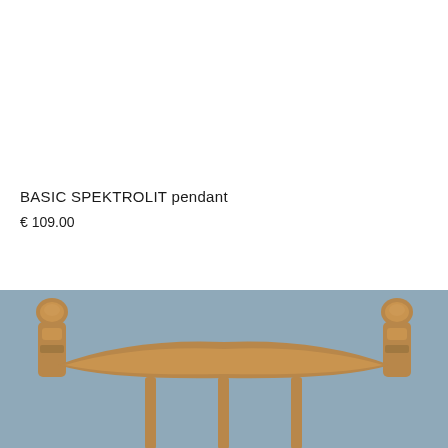BASIC SPEKTROLIT pendant
€ 109.00
[Figure (photo): Photograph of a wooden chair top rail and spindles against a muted blue-grey background, showing two turned finials on either end and a curved horizontal crest rail.]